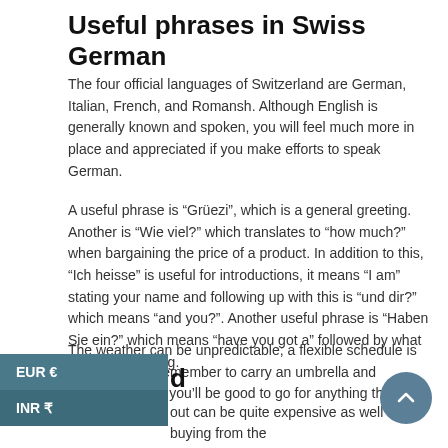Useful phrases in Swiss German
The four official languages of Switzerland are German, Italian, French, and Romansh. Although English is generally known and spoken, you will feel much more in place and appreciated if you make efforts to speak German.
A useful phrase is “Grüezi”, which is a general greeting. Another is “Wie viel?” which translates to “how much?” when bargaining the price of a product. In addition to this, “Ich heisse” is useful for introductions, it means “I am” stating your name and following up with this is “und dir?” which means “and you?”. Another useful phrase is “Haben Sie ein?” which means “have you got a” followed by what you’re requesting.
The weather can be unpredictable; a flexible schedule is advised – just remember to carry an umbrella and sunglasses and you’ll be good to go for anything the skies have for you.
EUR €
INR ₹
out can be quite expensive as well but buying from the